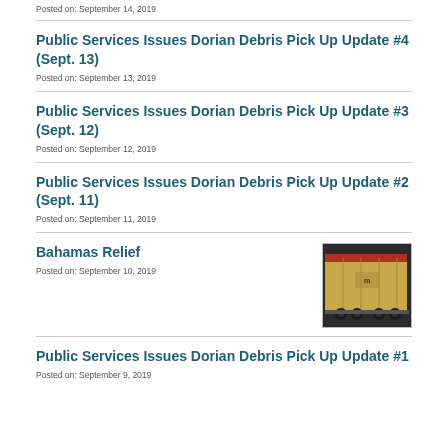Posted on: September 14, 2019
Public Services Issues Dorian Debris Pick Up Update #4 (Sept. 13)
Posted on: September 13, 2019
Public Services Issues Dorian Debris Pick Up Update #3 (Sept. 12)
Posted on: September 12, 2019
Public Services Issues Dorian Debris Pick Up Update #2 (Sept. 11)
Posted on: September 11, 2019
Bahamas Relief
Posted on: September 10, 2019
[Figure (photo): A large yellow/tan shipping container or trailer on a truck, with a red top edge visible against a dark background.]
Public Services Issues Dorian Debris Pick Up Update #1
Posted on: September 9, 2019